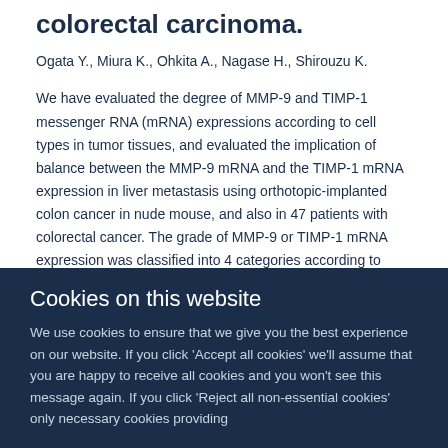colorectal carcinoma.
Ogata Y., Miura K., Ohkita A., Nagase H., Shirouzu K.
We have evaluated the degree of MMP-9 and TIMP-1 messenger RNA (mRNA) expressions according to cell types in tumor tissues, and evaluated the implication of balance between the MMP-9 mRNA and the TIMP-1 mRNA expression in liver metastasis using orthotopic-implanted colon cancer in nude mouse, and also in 47 patients with colorectal cancer. The grade of MMP-9 or TIMP-1 mRNA expression was classified into 4 categories according to positive cell ratio. A
Cookies on this website
We use cookies to ensure that we give you the best experience on our website. If you click 'Accept all cookies' we'll assume that you are happy to receive all cookies and you won't see this message again. If you click 'Reject all non-essential cookies' only necessary cookies providing